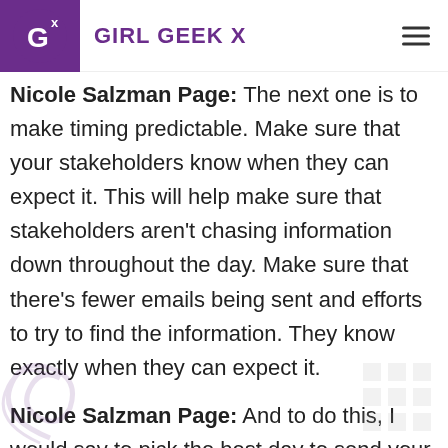Girl Geek X
Nicole Salzman Page: The next one is to make timing predictable. Make sure that your stakeholders know when they can expect it. This will help make sure that stakeholders aren't chasing information down throughout the day. Make sure that there's fewer emails being sent and efforts to try to find the information. They know exactly when they can expect it.
Nicole Salzman Page: And to do this, I would say to pick the best day to send your communications. And this is going to depend on